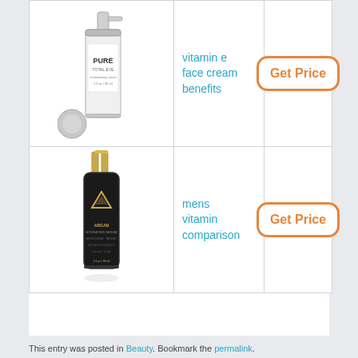[Figure (photo): White pump bottle of PURE face cream with cap beside it]
vitamin e face cream benefits
[Figure (other): Get Price button with orange border]
[Figure (photo): Dark bottle with gold cap and triangle logo - Argan product]
mens vitamin comparison
[Figure (other): Get Price button with orange border]
This entry was posted in Beauty. Bookmark the permalink.